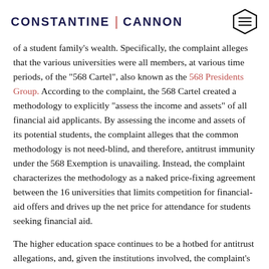CONSTANTINE | CANNON
of a student family's wealth. Specifically, the complaint alleges that the various universities were all members, at various time periods, of the "568 Cartel", also known as the 568 Presidents Group. According to the complaint, the 568 Cartel created a methodology to explicitly "assess the income and assets" of all financial aid applicants. By assessing the income and assets of its potential students, the complaint alleges that the common methodology is not need-blind, and therefore, antitrust immunity under the 568 Exemption is unavailing. Instead, the complaint characterizes the methodology as a naked price-fixing agreement between the 16 universities that limits competition for financial-aid offers and drives up the net price for attendance for students seeking financial aid.
The higher education space continues to be a hotbed for antitrust allegations, and, given the institutions involved, the complaint's allegations, and the potential defenses, this